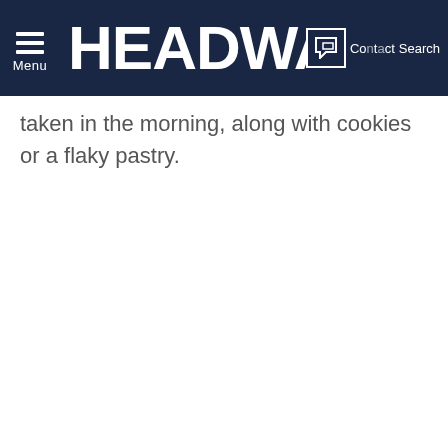Menu  HEADWARE  Contact  Search
taken in the morning, along with cookies or a flaky pastry.